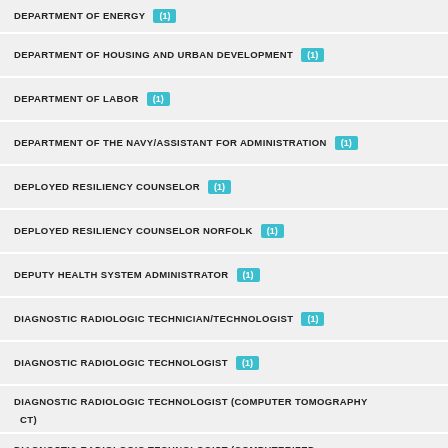DEPARTMENT OF ENERGY (1)
DEPARTMENT OF HOUSING AND URBAN DEVELOPMENT (1)
DEPARTMENT OF LABOR (1)
DEPARTMENT OF THE NAVY/ASSISTANT FOR ADMINISTRATION (1)
DEPLOYED RESILIENCY COUNSELOR (1)
DEPLOYED RESILIENCY COUNSELOR NORFOLK (1)
DEPUTY HEALTH SYSTEM ADMINISTRATOR (1)
DIAGNOSTIC RADIOLOGIC TECHNICIAN/TECHNOLOGIST (1)
DIAGNOSTIC RADIOLOGIC TECHNOLOGIST (1)
DIAGNOSTIC RADIOLOGIC TECHNOLOGIST (COMPUTER TOMOGRAPHY CT)
DIAGNOSTIC RADIOLOGIC TECHNOLOGIST (COMPUTERIZED TOMOGRAPHY)
DIAGNOSTIC RADIOLOGIC TECHNOLOGIST (MRI) OPEN CONTINUOUS
DIAGNOSTIC RADIOLOGIC TECHNOLOGIST (ULTRASOUND) OPEN CONTINUOUS